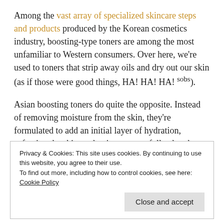Among the vast array of specialized skincare steps and products produced by the Korean cosmetics industry, boosting-type toners are among the most unfamiliar to Western consumers. Over here, we're used to toners that strip away oils and dry out our skin (as if those were good things, HA! HA! HA! sobs).
Asian boosting toners do quite the opposite. Instead of removing moisture from the skin, they're formulated to add an initial layer of hydration, softening the skin so that it can more fully absorb any subsequent layers of skincare. They also deliver their own blend of skin-beneficial ingredients. This commonly means antioxidant-rich plant extracts, brightening
Privacy & Cookies: This site uses cookies. By continuing to use this website, you agree to their use.
To find out more, including how to control cookies, see here: Cookie Policy